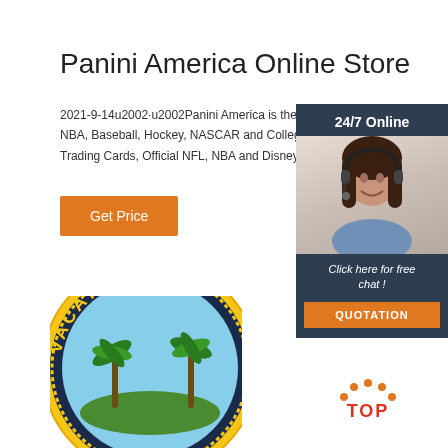Panini America Online Store
2021-9-14u2002·u2002Panini America is the home t NBA, Baseball, Hockey, NASCAR and Collegiate Sp Trading Cards, Official NFL, NBA and Disney Sticke
[Figure (screenshot): Orange 'Get Price' button]
[Figure (screenshot): 24/7 Online chat widget with woman wearing headset, 'Click here for free chat!' text and QUOTATION button]
[Figure (illustration): Circular vacation embroidered patch with VACATION text, palm trees, yellow border]
[Figure (logo): TOP logo with orange dots arc and red TOP text]